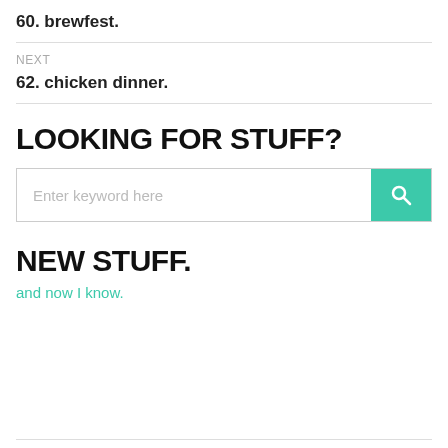60. brewfest.
NEXT
62. chicken dinner.
LOOKING FOR STUFF?
[Figure (other): Search box with placeholder text 'Enter keyword here' and a teal search button with magnifying glass icon]
NEW STUFF.
and now I know.